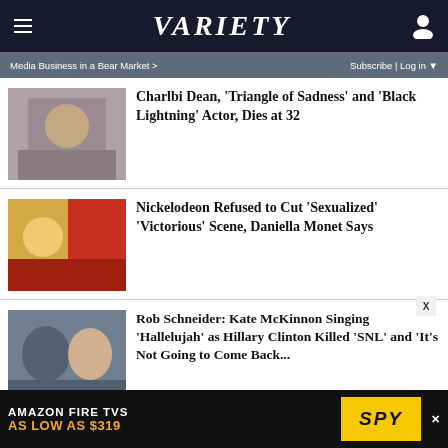VARIETY
Media Business in a Bear Market >     Subscribe | Log in ▼
Charlbi Dean, 'Triangle of Sadness' and 'Black Lightning' Actor, Dies at 32
Nickelodeon Refused to Cut 'Sexualized' 'Victorious' Scene, Daniella Monet Says
Rob Schneider: Kate McKinnon Singing 'Hallelujah' as Hillary Clinton Killed 'SNL' and 'It's Not Going to Come Back...
Jeff Bezos Thanks 'Rings of Power' Showrunners
[Figure (screenshot): Advertisement banner: AMAZON FIRE TVS AS LOW AS $319 with SPY logo]